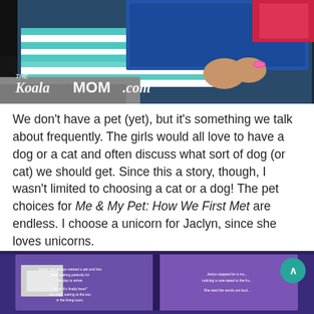[Figure (photo): Child holding a blue box with teal and white striped fabric visible. Watermark reads 'THE KoalaMOM.com' in white text overlay on the bottom left of the image.]
We don't have a pet (yet), but it's something we talk about frequently. The girls would all love to have a dog or a cat and often discuss what sort of dog (or cat) we should get. Since this a story, though, I wasn't limited to choosing a cat or a dog! The pet choices for Me & My Pet: How We First Met are endless. I choose a unicorn for Jaclyn, since she loves unicorns.
[Figure (photo): Open book showing two purple pages with white text. A scroll-to-top button (teal circle with up arrow) is visible on the right side. A white rectangular object is partially visible on the left page.]